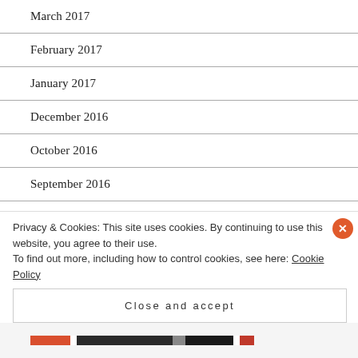March 2017
February 2017
January 2017
December 2016
October 2016
September 2016
August 2016
July 2016
Privacy & Cookies: This site uses cookies. By continuing to use this website, you agree to their use. To find out more, including how to control cookies, see here: Cookie Policy
Close and accept